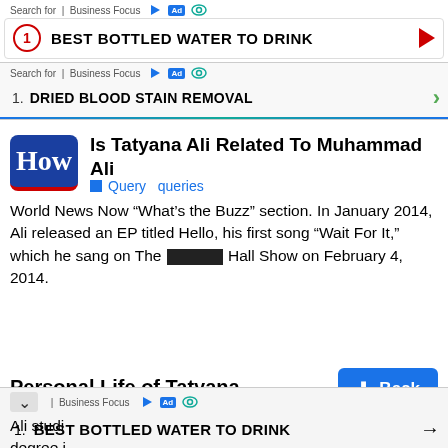[Figure (screenshot): Ad bar 1: Search for Business Focus - BEST BOTTLED WATER TO DRINK with red play arrow]
[Figure (screenshot): Ad bar 2: Search for Business Focus - DRIED BLOOD STAIN REMOVAL with green chevron]
Is Tatyana Ali Related To Muhammad Ali
Query queries
World News Now “What’s the Buzz” section. In January 2014, Ali released an EP titled Hello, his first song “Wait For It,” which he sang on The ███████ Hall Show on February 4, 2014.
Personal Life of Tatyana
Ali studi degree i
[Figure (screenshot): Back button (blue) and bottom ad bar: Business Focus - BEST BOTTLED WATER TO DRINK]